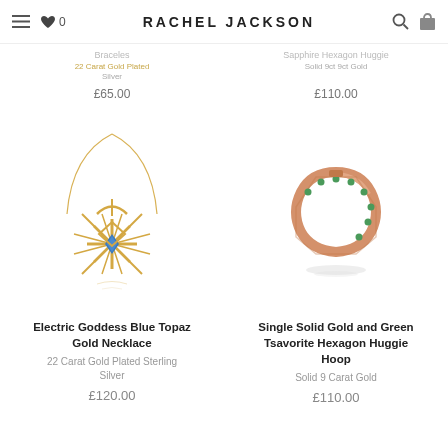RACHEL JACKSON
Braceles · 22 Carat Gold Plated Sterling Silver · £65.00
Sapphire Hexagon Huggie · Solid 9ct 9ct Gold · £110.00
[Figure (photo): Electric Goddess Blue Topaz Gold Necklace — a starburst gold pendant with blue topaz center stone on a delicate gold chain]
Electric Goddess Blue Topaz Gold Necklace
22 Carat Gold Plated Sterling Silver
£120.00
[Figure (photo): Single Solid Gold and Green Tsavorite Hexagon Huggie Hoop — a rose gold hexagonal hoop earring with green tsavorite stones]
Single Solid Gold and Green Tsavorite Hexagon Huggie Hoop
Solid 9 Carat Gold
£110.00